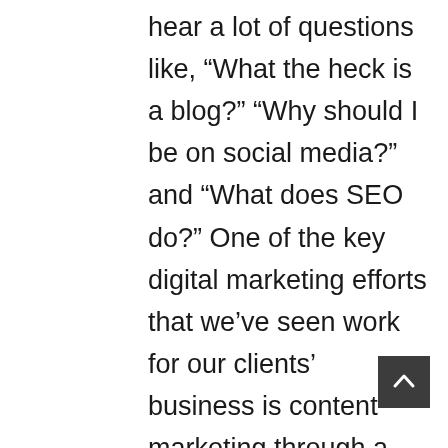hear a lot of questions like, “What the heck is a blog?” “Why should I be on social media?” and “What does SEO do?” One of the key digital marketing efforts that we’ve seen work for our clients’ business is content marketing through a business blog—even though it’s also one of the most misunderstood. If you don’t know what a business blog is, or why you should care, let’s start at the most basic question and walk you through the process of incorporating a business blog into your digital marketing plan.